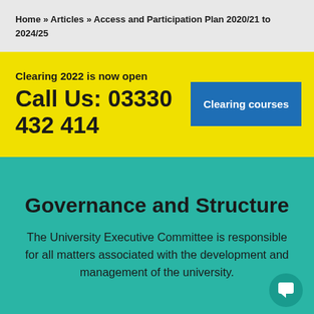Home » Articles » Access and Participation Plan 2020/21 to 2024/25
Clearing 2022 is now open
Call Us: 03330 432 414
Clearing courses
Governance and Structure
The University Executive Committee is responsible for all matters associated with the development and management of the university.